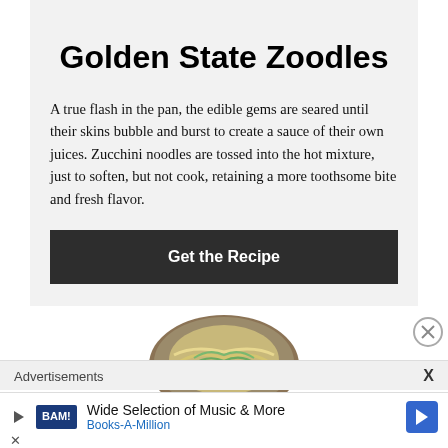Golden State Zoodles
A true flash in the pan, the edible gems are seared until their skins bubble and burst to create a sauce of their own juices. Zucchini noodles are tossed into the hot mixture, just to soften, but not cook, retaining a more toothsome bite and fresh flavor.
Get the Recipe
[Figure (photo): Partial view of a food dish, appears to be zoodles/noodles on a plate, cropped at bottom of page]
Advertisements
Wide Selection of Music & More
Books-A-Million